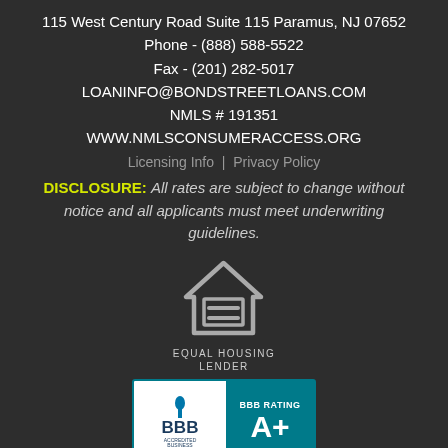115 West Century Road Suite 115 Paramus, NJ 07652
Phone - (888) 588-5522
Fax - (201) 282-5017
LOANINFO@BONDSTREETLOANS.COM
NMLS # 191351
WWW.NMLSCONSUMERACCESS.ORG
Licensing Info | Privacy Policy
DISCLOSURE: All rates are subject to change without notice and all applicants must meet underwriting guidelines.
[Figure (logo): Equal Housing Lender logo — house outline with an equals sign, labeled EQUAL HOUSING LENDER]
[Figure (logo): BBB Accredited Business badge with BBB Rating A+]
Sitemap